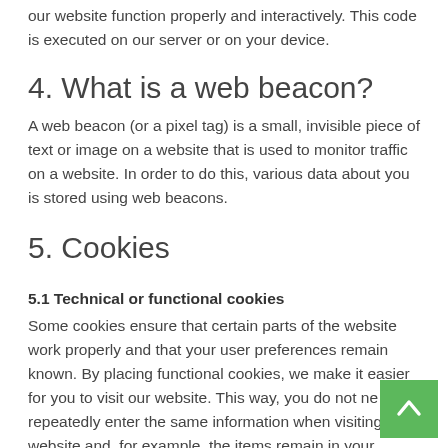our website function properly and interactively. This code is executed on our server or on your device.
4. What is a web beacon?
A web beacon (or a pixel tag) is a small, invisible piece of text or image on a website that is used to monitor traffic on a website. In order to do this, various data about you is stored using web beacons.
5. Cookies
5.1 Technical or functional cookies
Some cookies ensure that certain parts of the website work properly and that your user preferences remain known. By placing functional cookies, we make it easier for you to visit our website. This way, you do not need to repeatedly enter the same information when visiting our website and, for example, the items remain in your